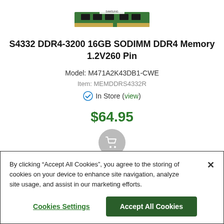[Figure (photo): Product photo of a DDR4 SODIMM memory module (green PCB with chips)]
S4332 DDR4-3200 16GB SODIMM DDR4 Memory 1.2V260 Pin
Model: M471A2K43DB1-CWE
Item: MEMDDRS4332R
✔ In Store (view)
$64.95
[Figure (illustration): Shopping cart button icon (grey circle with white cart)]
By clicking “Accept All Cookies”, you agree to the storing of cookies on your device to enhance site navigation, analyze site usage, and assist in our marketing efforts.
Cookies Settings | Accept All Cookies